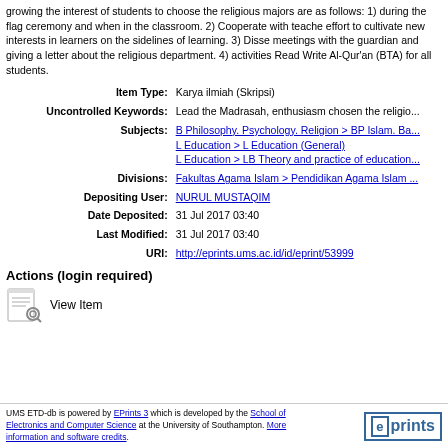growing the interest of students to choose the religious majors are as follows: 1) during the flag ceremony and when in the classroom. 2) Cooperate with teachers effort to cultivate new interests in learners on the sidelines of learning. 3) Disseminate meetings with the guardian and giving a letter about the religious department. 4) activities Read Write Al-Qur'an (BTA) for all students.
| Item Type: | Karya ilmiah (Skripsi) |
| Uncontrolled Keywords: | Lead the Madrasah, enthusiasm chosen the religio... |
| Subjects: | B Philosophy. Psychology. Religion > BP Islam. Ba...
L Education > L Education (General)
L Education > LB Theory and practice of education... |
| Divisions: | Fakultas Agama Islam > Pendidikan Agama Islam... |
| Depositing User: | NURUL MUSTAQIM |
| Date Deposited: | 31 Jul 2017 03:40 |
| Last Modified: | 31 Jul 2017 03:40 |
| URI: | http://eprints.ums.ac.id/id/eprint/53999 |
Actions (login required)
View Item
UMS ETD-db is powered by EPrints 3 which is developed by the School of Electronics and Computer Science at the University of Southampton. More information and software credits.